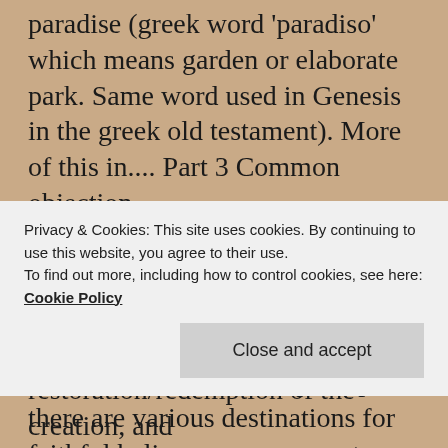paradise (greek word 'paradiso' which means garden or elaborate park. Same word used in Genesis in the greek old testament). More of this in.... Part 3 Common objection. The question which now remains is whether God's plan inbetween Genesis and Revelation has been a mystery that is only now being revealed as Heaven. Or perhaps there are various destinations for faithful believers, one group to heaven and another on earth, as some teach. Amidst all this, what does God...
Privacy & Cookies: This site uses cookies. By continuing to use this website, you agree to their use.
To find out more, including how to control cookies, see here:
Cookie Policy
restoration/redemption of the creation, and